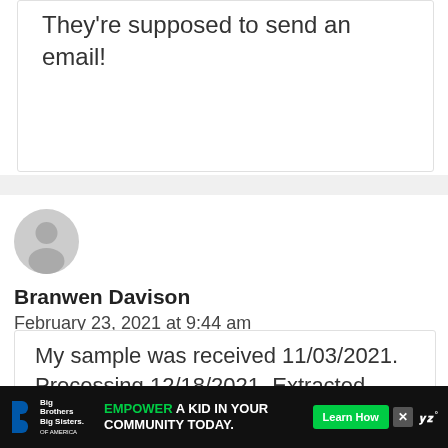They're supposed to send an email!
[Figure (illustration): Generic user avatar icon — grey silhouette of a person on light grey circular background]
Branwen Davison
February 23, 2021 at 9:44 am
My sample was received 11/03/2021. Processing 12/18/2021. Extracted 12/21
[Figure (infographic): Ad banner: Big Brothers Big Sisters logo on left, green 'EMPOWER A KID IN YOUR COMMUNITY TODAY.' text, green Learn How button, close X button, and Weave logo on right, all on black background]